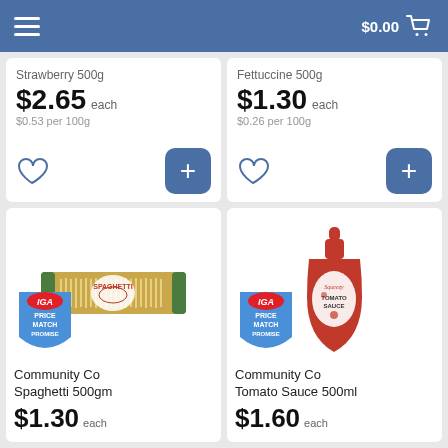$0.00
Strawberry 500g
$2.65 each
$0.53 per 100g
Fettuccine 500g
$1.30 each
$0.26 per 100g
[Figure (photo): Community Co Spaghetti 500gm product with IGA Price Match Promise badge]
Community Co Spaghetti 500gm
$1.30 each
[Figure (photo): Community Co Tomato Sauce 500ml product with IGA Price Match Promise badge]
Community Co Tomato Sauce 500ml
$1.60 each